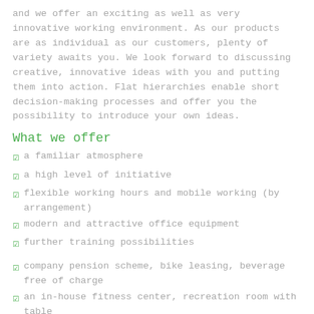and we offer an exciting as well as very innovative working environment. As our products are as individual as our customers, plenty of variety awaits you. We look forward to discussing creative, innovative ideas with you and putting them into action. Flat hierarchies enable short decision-making processes and offer you the possibility to introduce your own ideas.
What we offer
a familiar atmosphere
a high level of initiative
flexible working hours and mobile working (by arrangement)
modern and attractive office equipment
further training possibilities
company pension scheme, bike leasing, beverage free of charge
an in-house fitness center, recreation room with table